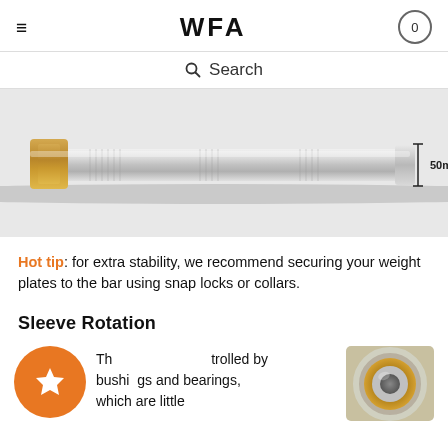≡  WFA  0
Search
[Figure (photo): Close-up photo of a silver barbell sleeve/bar with a gold collar end, shown horizontally. A scale indicator on the right shows 50mm.]
Hot tip: for extra stability, we recommend securing your weight plates to the bar using snap locks or collars.
Sleeve Rotation
[Figure (illustration): Orange circle badge with a white star icon.]
Th...trolled by bushings and bearings, which are little
[Figure (photo): Close-up photo of a barbell sleeve end showing brass/bronze bushing detail.]